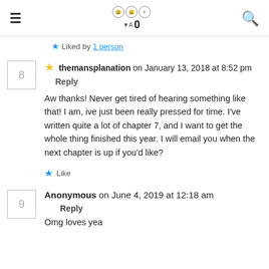≡  [icons] 0  🔍
★ Liked by 1 person
8  ★ themansplanation on January 13, 2018 at 8:52 pm   Reply
Aw thanks! Never get tired of hearing something like that! I am, ive just been really pressed for time. I've written quite a lot of chapter 7, and I want to get the whole thing finished this year. I will email you when the next chapter is up if you'd like?
★ Like
9  Anonymous on June 4, 2019 at 12:18 am   Reply
Omg loves yea